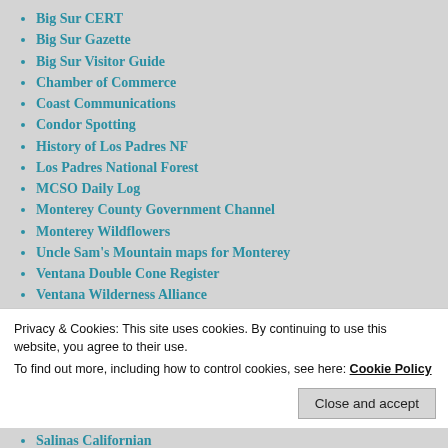Big Sur CERT
Big Sur Gazette
Big Sur Visitor Guide
Chamber of Commerce
Coast Communications
Condor Spotting
History of Los Padres NF
Los Padres National Forest
MCSO Daily Log
Monterey County Government Channel
Monterey Wildflowers
Uncle Sam's Mountain maps for Monterey
Ventana Double Cone Register
Ventana Wilderness Alliance
Xasauan Today
Privacy & Cookies: This site uses cookies. By continuing to use this website, you agree to their use. To find out more, including how to control cookies, see here: Cookie Policy
Close and accept
Salinas Californian